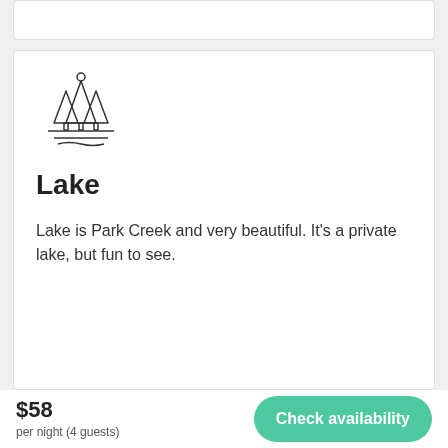[Figure (illustration): Outdoor/lake scene icon with pine trees and a sun above a horizontal line representing water or ground]
Lake
Lake is Park Creek and very beautiful. It's a private lake, but fun to see.
$58
per night (4 guests)
Check availability